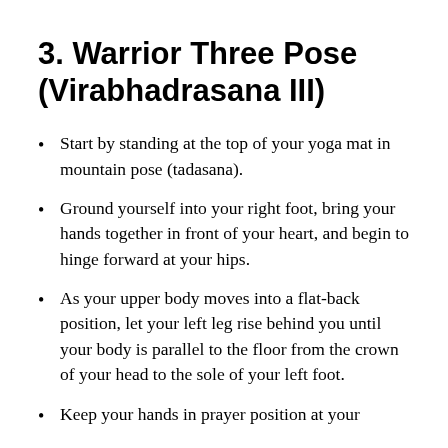3. Warrior Three Pose (Virabhadrasana III)
Start by standing at the top of your yoga mat in mountain pose (tadasana).
Ground yourself into your right foot, bring your hands together in front of your heart, and begin to hinge forward at your hips.
As your upper body moves into a flat-back position, let your left leg rise behind you until your body is parallel to the floor from the crown of your head to the sole of your left foot.
Keep your hands in prayer position at your heart, or fully extend them.